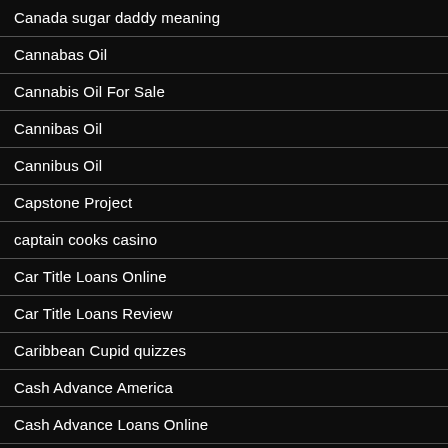Canada sugar daddy meaning
Cannabas Oil
Cannabis Oil For Sale
Cannibas Oil
Cannibus Oil
Capstone Project
captain cooks casino
Car Title Loans Online
Car Title Loans Review
Caribbean Cupid quizzes
Cash Advance America
Cash Advance Loans Online
Cash Advance Texas